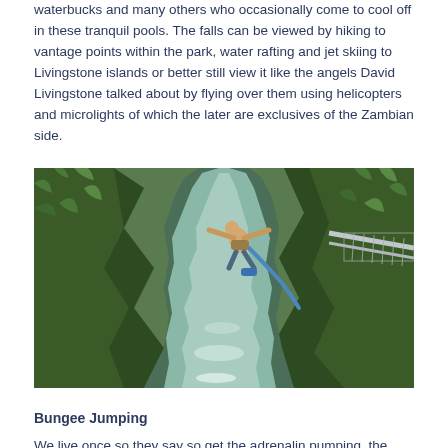waterbucks and many others who occasionally come to cool off in these tranquil pools. The falls can be viewed by hiking to vantage points within the park, water rafting and jet skiing to Livingstone islands or better still view it like the angels David Livingstone talked about by flying over them using helicopters and microlights of which the later are exclusives of the Zambian side.
[Figure (photo): A person bungee jumping off a bridge over a deep gorge with a river below, surrounded by lush green vegetation on both sides. The jumper has arms spread wide and is attached to a bungee cord. A metal bridge structure is visible on the right side.]
Bungee Jumping
We live once so they say so get the adrenalin pumping, the Victoria